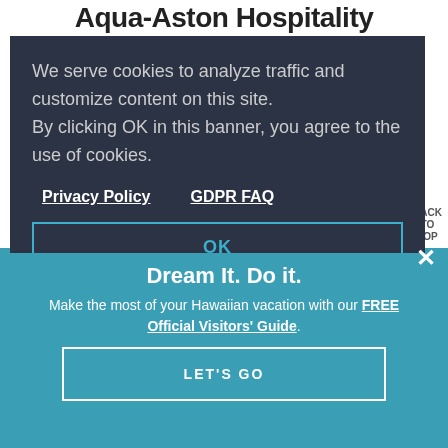Aqua-Aston Hospitality
We serve cookies to analyze traffic and customize content on this site.
By clicking OK in this banner, you agree to the use of cookies.
Privacy Policy   GDPR FAQ
OK
BACK TO TOP
Pine Isle Market, Ltd.
A one stop shopping experience for all your basic needs, serving Lanai City since 1951.
Learn More >
Dream It. Do it.
Make the most of your Hawaiian vacation with our FREE Official Visitors' Guide.
LET'S GO